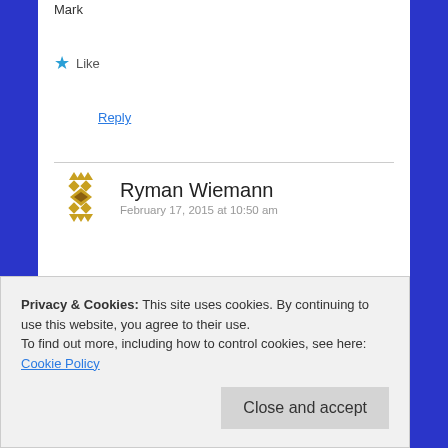Mark
★ Like
Reply
Ryman Wiemann
February 17, 2015 at 10:50 am
Thanks Mark. You were right. After doing my 5th and 6th HB sessions I was not really able to climb after them, I was just to tired and didn't have the strength to perform. I think I didn't really get to my
Privacy & Cookies: This site uses cookies. By continuing to use this website, you agree to their use.
To find out more, including how to control cookies, see here: Cookie Policy
Close and accept
gym and I want to be in the campus phase